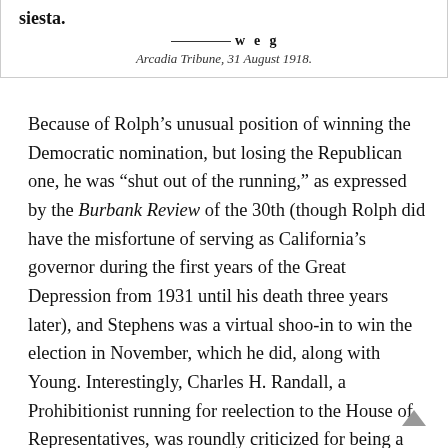siesta.
[image caption line]
Arcadia Tribune, 31 August 1918.
Because of Rolph’s unusual position of winning the Democratic nomination, but losing the Republican one, he was “shut out of the running,” as expressed by the Burbank Review of the 30th (though Rolph did have the misfortune of serving as California’s governor during the first years of the Great Depression from 1931 until his death three years later), and Stephens was a virtual shoo-in to win the election in November, which he did, along with Young. Interestingly, Charles H. Randall, a Prohibitionist running for reelection to the House of Representatives, was roundly criticized for being a pacifist concerning the world war, but managed to win reelection, though he was defeated in 1920 (still an ardent Prohibition defender, Randall went on to serve